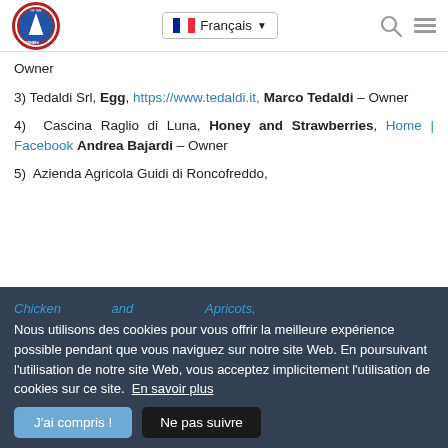Friend of the Sea — Français
Owner
3) Tedaldi Srl, Egg, https://www.tedaldi.it, Marco Tedaldi – Owner
4) Cascina Raglio di Luna, Honey and Strawberries, Home | Facebook Andrea Bajardi – Owner
5) Azienda Agricola Guidi di Roncofreddo, Chicken and Apricots, https://www.abricolasrl.com, ...in Olive Oil, ...Masena, Fromm Rossellini, Pomegranate, https://iomesuperfruit.com, Dario Lisi – Sales Director...
8) La Doria SpA, Industrial Tomato,
Nous utilisons des cookies pour vous offrir la meilleure expérience possible pendant que vous naviguez sur notre site Web. En poursuivant l'utilisation de notre site Web, vous acceptez implicitement l'utilisation de cookies sur ce site. En savoir plus